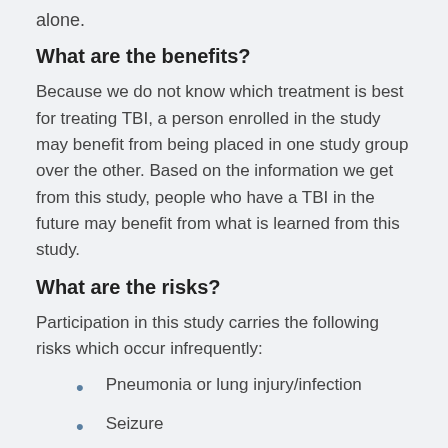alone.
What are the benefits?
Because we do not know which treatment is best for treating TBI, a person enrolled in the study may benefit from being placed in one study group over the other. Based on the information we get from this study, people who have a TBI in the future may benefit from what is learned from this study.
What are the risks?
Participation in this study carries the following risks which occur infrequently:
Pneumonia or lung injury/infection
Seizure
Ear infection